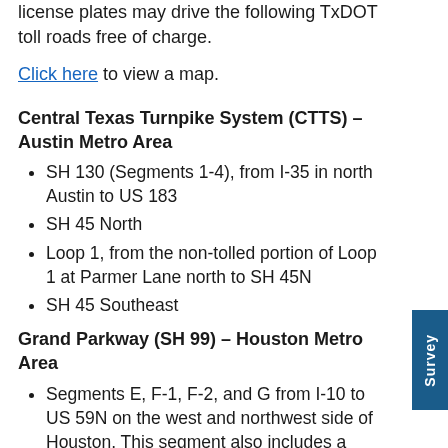license plates may drive the following TxDOT toll roads free of charge.
Click here to view a map.
Central Texas Turnpike System (CTTS) – Austin Metro Area
SH 130 (Segments 1-4), from I-35 in north Austin to US 183
SH 45 North
Loop 1, from the non-tolled portion of Loop 1 at Parmer Lane north to SH 45N
SH 45 Southeast
Grand Parkway (SH 99) – Houston Metro Area
Segments E, F-1, F-2, and G from I-10 to US 59N on the west and northwest side of Houston. This segment also includes a small portion of Segment D near I-10
Segment I-2 near Baytown, from I-10